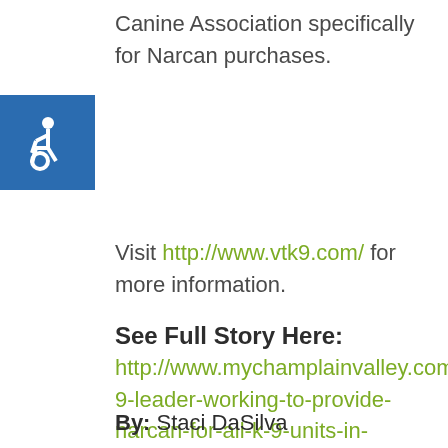Canine Association specifically for Narcan purchases.
[Figure (illustration): Blue accessibility icon with wheelchair symbol]
Visit http://www.vtk9.com/ for more information.
See Full Story Here:
http://www.mychamplainvalley.com/news/k-9-leader-working-to-provide-narcan-for-all-k-9-units-in-vermont/768512419
By: Staci DaSilva